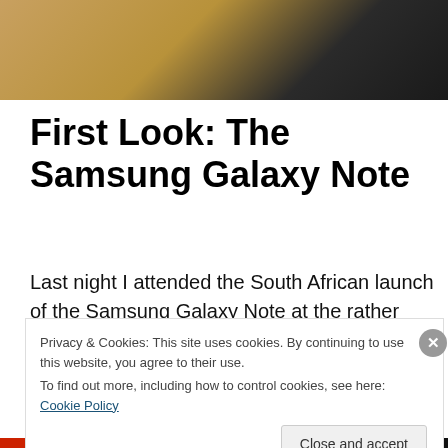[Figure (photo): Partial photo of Samsung Galaxy Note device on warm amber/dark background, showing top portion of the device]
First Look: The Samsung Galaxy Note
Last night I attended the South African launch of the Samsung Galaxy Note at the rather plush Radisson Blu Gautrain Hotel. It was quite a spectacle. To put things into perspective you know when you arrive at a venue and the name of the product being launched is
Privacy & Cookies: This site uses cookies. By continuing to use this website, you agree to their use.
To find out more, including how to control cookies, see here: Cookie Policy
Close and accept